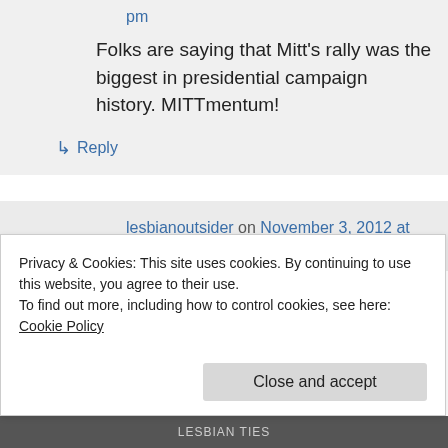pm
Folks are saying that Mitt's rally was the biggest in presidential campaign history. MITTmentum!
↳ Reply
lesbianoutsider on November 3, 2012 at 12:14 pm
Privacy & Cookies: This site uses cookies. By continuing to use this website, you agree to their use.
To find out more, including how to control cookies, see here: Cookie Policy
Close and accept